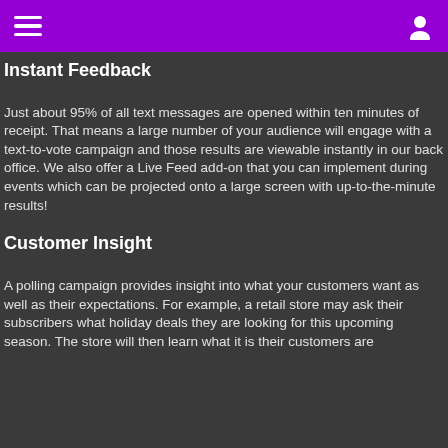Instant Feedback
Just about 95% of all text messages are opened within ten minutes of receipt. That means a large number of your audience will engage with a text-to-vote campaign and those results are viewable instantly in our back office. We also offer a Live Feed add-on that you can implement during events which can be projected onto a large screen with up-to-the-minute results!
Customer Insight
A polling campaign provides insight into what your customers want as well as their expectations. For example, a retail store may ask their subscribers what holiday deals they are looking for this upcoming season. The store will then learn what it is their customers are